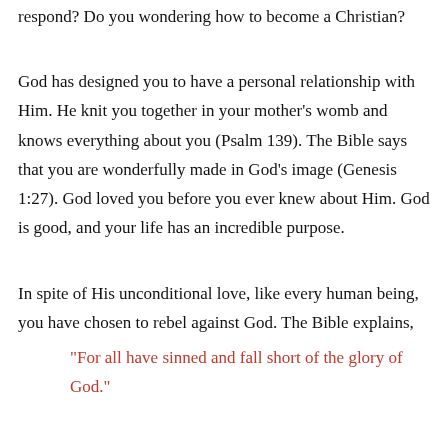respond? Do you wondering how to become a Christian?
God has designed you to have a personal relationship with Him. He knit you together in your mother's womb and knows everything about you (Psalm 139). The Bible says that you are wonderfully made in God’s image (Genesis 1:27). God loved you before you ever knew about Him. God is good, and your life has an incredible purpose.
In spite of His unconditional love, like every human being, you have chosen to rebel against God. The Bible explains,
“For all have sinned and fall short of the glory of God.”